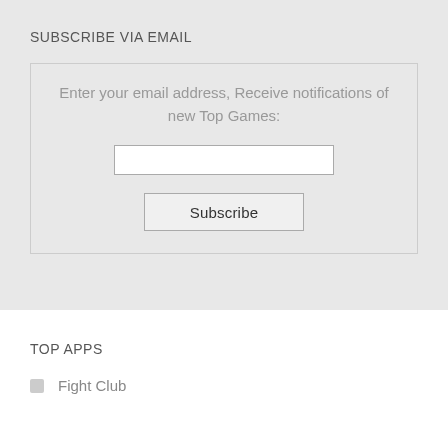SUBSCRIBE VIA EMAIL
Enter your email address, Receive notifications of new Top Games:
TOP APPS
Fight Club